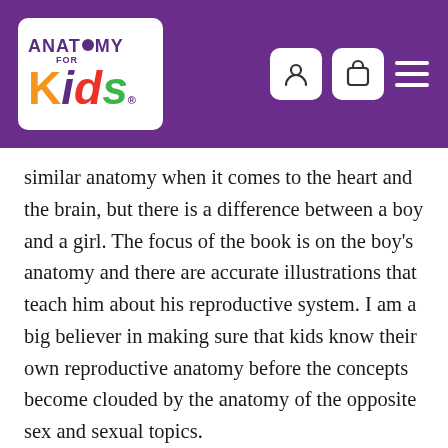Anatomy for Kids
similar anatomy when it comes to the heart and the brain, but there is a difference between a boy and a girl. The focus of the book is on the boy's anatomy and there are accurate illustrations that teach him about his reproductive system. I am a big believer in making sure that kids know their own reproductive anatomy before the concepts become clouded by the anatomy of the opposite sex and sexual topics.
I think this might satisfy his curiosity for now.